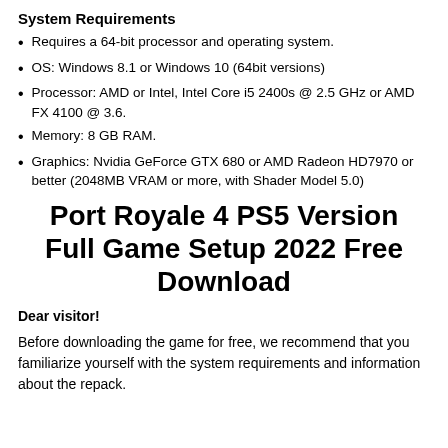System Requirements
Requires a 64-bit processor and operating system.
OS: Windows 8.1 or Windows 10 (64bit versions)
Processor: AMD or Intel, Intel Core i5 2400s @ 2.5 GHz or AMD FX 4100 @ 3.6.
Memory: 8 GB RAM.
Graphics: Nvidia GeForce GTX 680 or AMD Radeon HD7970 or better (2048MB VRAM or more, with Shader Model 5.0)
Port Royale 4 PS5 Version Full Game Setup 2022 Free Download
Dear visitor!
Before downloading the game for free, we recommend that you familiarize yourself with the system requirements and information about the repack.